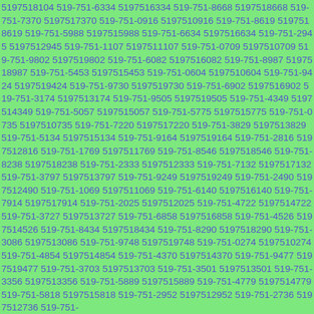5197518104 519-751-6334 5197516334 519-751-8668 5197518668 519-751-7370 5197517370 519-751-0916 5197510916 519-751-8619 5197518619 519-751-5988 5197515988 519-751-6634 5197516634 519-751-2945 5197512945 519-751-1107 5197511107 519-751-0709 5197510709 519-751-9802 5197519802 519-751-6082 5197516082 519-751-8987 5197518987 519-751-5453 5197515453 519-751-0604 5197510604 519-751-9424 5197519424 519-751-9730 5197519730 519-751-6902 5197516902 519-751-3174 5197513174 519-751-9505 5197519505 519-751-4349 5197514349 519-751-5057 5197515057 519-751-5775 5197515775 519-751-0735 5197510735 519-751-7220 5197517220 519-751-3829 5197513829 519-751-5134 5197515134 519-751-9164 5197519164 519-751-2816 5197512816 519-751-1769 5197511769 519-751-8546 5197518546 519-751-8238 5197518238 519-751-2333 5197512333 519-751-7132 5197517132 519-751-3797 5197513797 519-751-9249 5197519249 519-751-2490 5197512490 519-751-1069 5197511069 519-751-6140 5197516140 519-751-7914 5197517914 519-751-2025 5197512025 519-751-4722 5197514722 519-751-3727 5197513727 519-751-6858 5197516858 519-751-4526 5197514526 519-751-8434 5197518434 519-751-8290 5197518290 519-751-3086 5197513086 519-751-9748 5197519748 519-751-0274 5197510274 519-751-4854 5197514854 519-751-4370 5197514370 519-751-9477 5197519477 519-751-3703 5197513703 519-751-3501 5197513501 519-751-3356 5197513356 519-751-5889 5197515889 519-751-4779 5197514779 519-751-5818 5197515818 519-751-2952 5197512952 519-751-2736 5197512736 519-751-